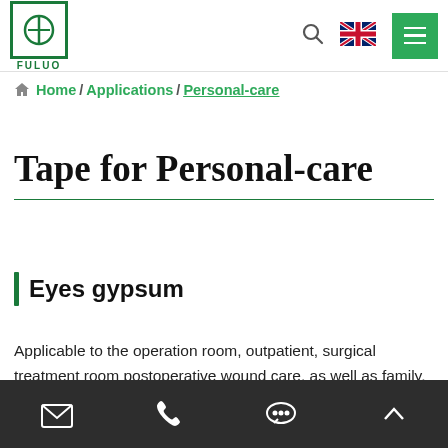FULUO logo / Search / Language / Menu
Home / Applications / Personal-care
Tape for Personal-care
Eyes gypsum
Applicable to the operation room, outpatient, surgical treatment room postoperative wound care, as well as family, personal general wound care.
Apply gently to the skin for good air permeability and
Email / Phone / Chat / Up icons